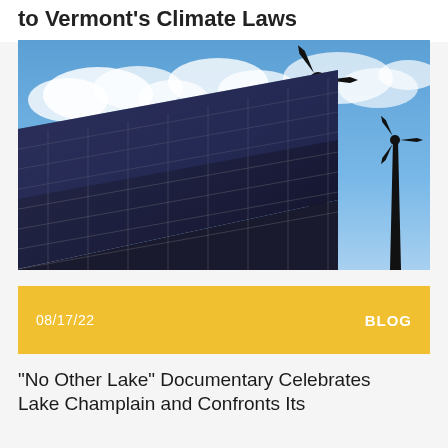to Vermont's Climate Laws
[Figure (photo): Solar panels in the foreground with two wind turbines silhouetted against a blue sky with clouds]
08/17/22    BLOG
“No Other Lake” Documentary Celebrates Lake Champlain and Confronts Its